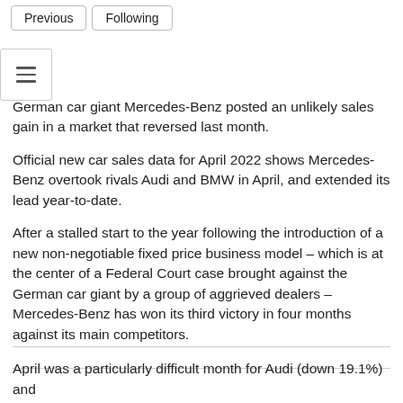Previous
Following
German car giant Mercedes-Benz posted an unlikely sales gain in a market that reversed last month.
Official new car sales data for April 2022 shows Mercedes-Benz overtook rivals Audi and BMW in April, and extended its lead year-to-date.
After a stalled start to the year following the introduction of a new non-negotiable fixed price business model – which is at the center of a Federal Court case brought against the German car giant by a group of aggrieved dealers – Mercedes-Benz has won its third victory in four months against its main competitors.
April was a particularly difficult month for Audi (down 19.1%) and